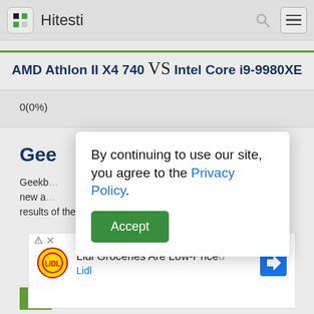Hitesti
AMD Athlon II X4 740 VS Intel Core i9-9980XE
0(0%)
Gee
Geekb... ...ely new a... results of the single-core CPU.
By continuing to use our site, you agree to the Privacy Policy. Accept
[Figure (screenshot): Ad banner: Lidl Groceries Are Low-Priced, Lidl]
46